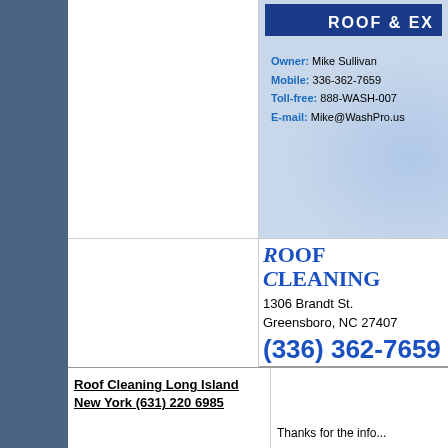[Figure (logo): Partial roof and exterior company logo with blue background showing 'ROOF & EX...' text]
Owner: Mike Sullivan
Mobile: 336-362-7659
Toll-free: 888-WASH-007
E-mail: Mike@WashPro.us
Roof Cleaning
1306 Brandt St.
Greensboro, NC 27407
(336) 362-7659
Power Washing & Roof Cleaning
Roof Cleaning Video
www.roofcleaningpressurewash...
BBB A+ rating
Roof Cleaning Long Island New York (631) 220 6985
Thanks for the info...